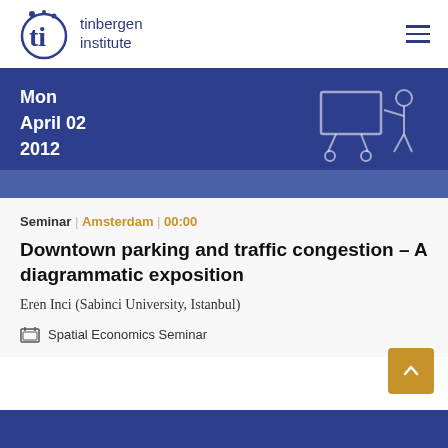tinbergen institute
Mon
April 02
2012
Seminar | Amsterdam | 00:00
Downtown parking and traffic congestion – A diagrammatic exposition
Eren Inci (Sabinci University, Istanbul)
Spatial Economics Seminar